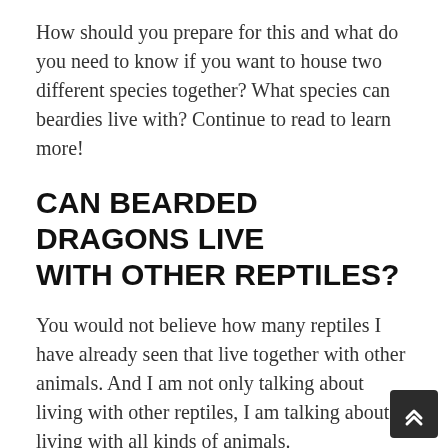How should you prepare for this and what do you need to know if you want to house two different species together? What species can beardies live with? Continue to read to learn more!
CAN BEARDED DRAGONS LIVE WITH OTHER REPTILES?
You would not believe how many reptiles I have already seen that live together with other animals. And I am not only talking about living with other reptiles, I am talking about living with all kinds of animals.
I have seen green basilisks living with birds, yes, birds! I have seen bearded dragons living with turtles and also bearded dragons